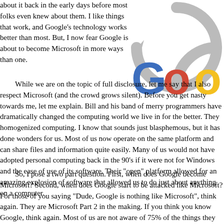about it back in the early days before most folks even knew about them.  I like things that work, and Google's technology works better than most.  But, I now fear Google is about to become Microsoft in more ways than one.
[Figure (logo): Google logo with circular arrows around it, partially cropped on the right side]
While we are on the topic of full disclosure, let me say that I also respect Microsoft (and the crowd grows silent). Before you get nasty towards me, let me explain.  Bill and his band of merry programmers have dramatically changed the computing world we live in for the better.  They homogenized computing.  I know that sounds just blasphemous, but it has done wonders for us. Most of us now operate on the same platform and can share files and information quite easily. Many of us would not have adopted personal computing back in the 90's if it were not for Windows and the ease of use of its software.  Their "open" platform allowed for an amazing explosion of software that allowed us to do just about anything on a computer.
So, I pose a two part question.  First, when does Google become Microsoft?  Second, when does Google start to be attacked like Microsoft?  For those of you saying "Dude, Google is nothing like Microsoft", think again.  They are Microsoft Part 2 in the making.  If you think you know Google, think again.  Most of us are not aware of 75% of the things they offer, and about 95% of what they are working on.